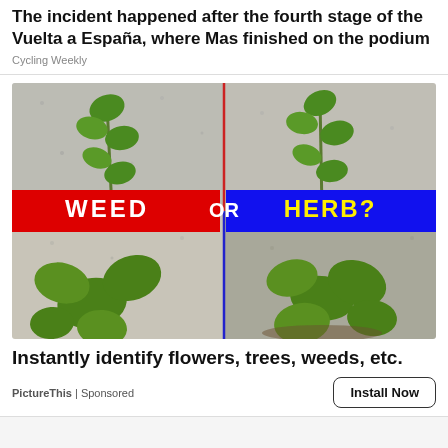The incident happened after the fourth stage of the Vuelta a España, where Mas finished on the podium
Cycling Weekly
[Figure (photo): Advertisement image split into four quadrants showing plants with a red banner saying 'WEED' on the left and a blue banner saying 'HERB?' on the right, with 'OR' in the center.]
Instantly identify flowers, trees, weeds, etc.
PictureThis | Sponsored
Install Now